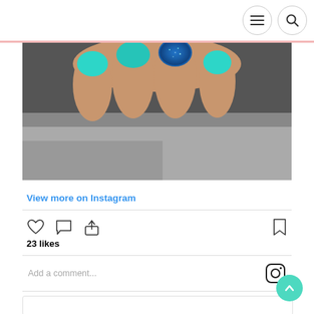[Figure (screenshot): Instagram post screenshot showing a hand with teal/turquoise and blue glitter nail polish]
View more on Instagram
[Figure (infographic): Instagram action icons: heart (like), comment bubble, share/upload arrow, bookmark; showing 23 likes]
23 likes
Add a comment...
[Figure (logo): Instagram camera logo icon]
[Figure (infographic): Scroll-to-top button (teal circle with up arrow)]